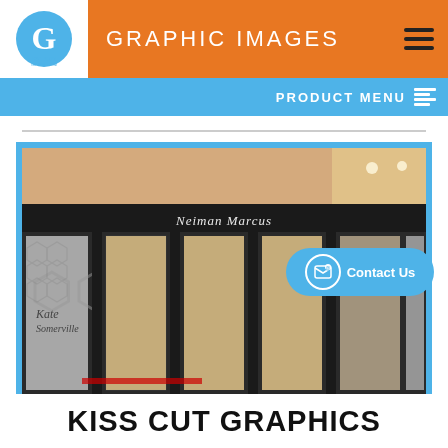GRAPHIC IMAGES
PRODUCT MENU
[Figure (photo): Exterior storefront of Neiman Marcus with glass doors featuring a hexagonal pattern window film, and a sign reading 'Kate Somerville' visible inside.]
KISS CUT GRAPHICS